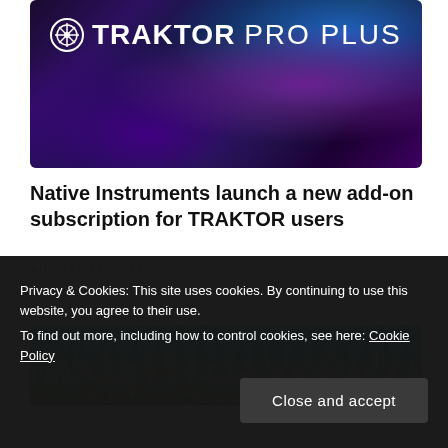[Figure (photo): Traktor Pro Plus hero image with dark gradient background showing DJ equipment, colorful abstract shapes in purple, blue, and teal. Logo with circular icon and text 'TRAKTOR PRO PLUS' in white.]
Native Instruments launch a new add-on subscription for TRAKTOR users
AUGUST 22, 2022
[Figure (photo): Partial image at bottom showing circular teal/aqua decorative pattern at top and what appears to be vintage/retro imagery below.]
Privacy & Cookies: This site uses cookies. By continuing to use this website, you agree to their use.
To find out more, including how to control cookies, see here: Cookie Policy
Close and accept